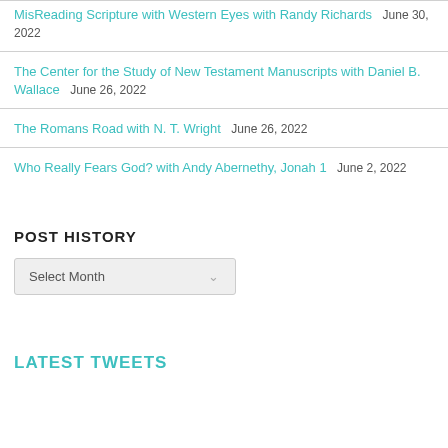MisReading Scripture with Western Eyes with Randy Richards  June 30, 2022
The Center for the Study of New Testament Manuscripts with Daniel B. Wallace  June 26, 2022
The Romans Road with N. T. Wright  June 26, 2022
Who Really Fears God? with Andy Abernethy, Jonah 1  June 2, 2022
POST HISTORY
Select Month
LATEST TWEETS